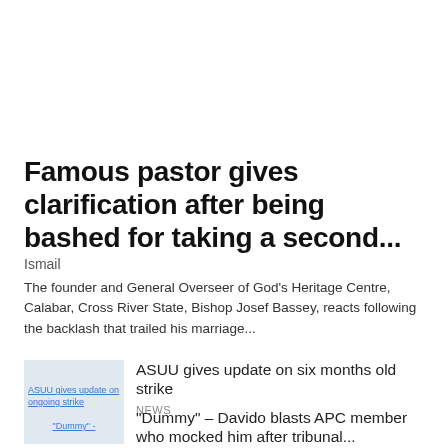Famous pastor gives clarification after being bashed for taking a second...
Ismail
The founder and General Overseer of God's Heritage Centre, Calabar, Cross River State, Bishop Josef Bassey, reacts following the backlash that trailed his marriage...
[Figure (photo): Thumbnail image for ASUU gives update on ongoing strike article]
ASUU gives update on six months old strike
NEWS
[Figure (photo): Thumbnail image for Dummy article]
“Dummy” – Davido blasts APC member who mocked him after tribunal...